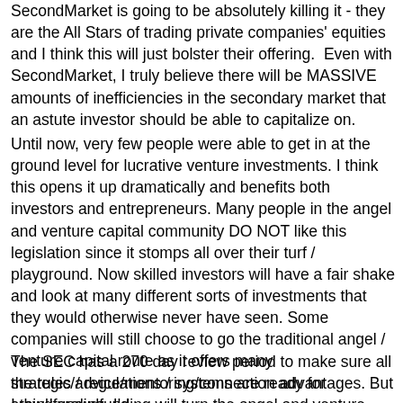SecondMarket is going to be absolutely killing it - they are the All Stars of trading private companies' equities and I think this will just bolster their offering.  Even with SecondMarket, I truly believe there will be MASSIVE amounts of inefficiencies in the secondary market that an astute investor should be able to capitalize on.
Until now, very few people were able to get in at the ground level for lucrative venture investments. I think this opens it up dramatically and benefits both investors and entrepreneurs. Many people in the angel and venture capital community DO NOT like this legislation since it stomps all over their turf / playground. Now skilled investors will have a fair shake and look at many different sorts of investments that they would otherwise never have seen. Some companies will still choose to go the traditional angel / venture capital route as it offers many strategic/advice/mentoring/connection advantages. But I think crowdfunding will turn the angel and venture capital world upside down.
The SEC has a 270 day review period to make sure all the rules / regulations / systems are ready for crowdfunding. I'd